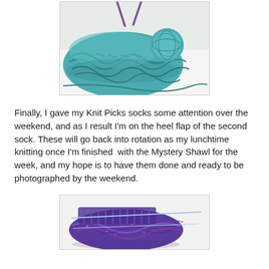[Figure (photo): Teal/blue-green knitted shawl or wrap in progress, with a small ball of matching yarn resting on top, purple knitting needles visible at top, on a white surface.]
Finally, I gave my Knit Picks socks some attention over the weekend, and as I result I'm on the heel flap of the second sock. These will go back into rotation as my lunchtime knitting once I'm finished  with the Mystery Shawl for the week, and my hope is to have them done and ready to be photographed by the weekend.
[Figure (photo): Purple and blue multicolored knitted sock in progress on knitting needles, on a white surface.]